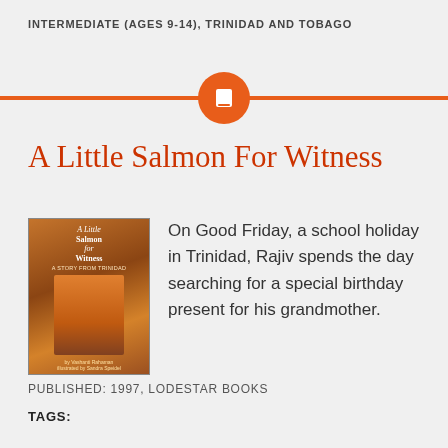INTERMEDIATE (AGES 9-14), TRINIDAD AND TOBAGO
[Figure (illustration): Orange horizontal divider line with an orange circle containing a white book icon in the center]
A Little Salmon For Witness
[Figure (photo): Book cover of 'A Little Salmon for Witness: A Story from Trinidad' showing a boy in an orange shirt against a warm background]
On Good Friday, a school holiday in Trinidad, Rajiv spends the day searching for a special birthday present for his grandmother.
PUBLISHED: 1997, LODESTAR BOOKS
TAGS: